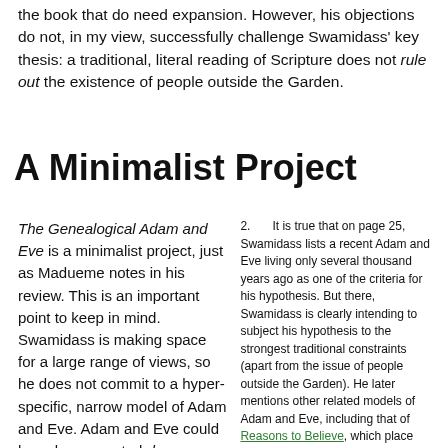the book that do need expansion. However, his objections do not, in my view, successfully challenge Swamidass' key thesis: a traditional, literal reading of Scripture does not rule out the existence of people outside the Garden.
A Minimalist Project
The Genealogical Adam and Eve is a minimalist project, just as Madueme notes in his review. This is an important point to keep in mind. Swamidass is making space for a large range of views, so he does not commit to a hyper-specific, narrow model of Adam and Eve. Adam and Eve could have been created de novo or refurbished from
2. It is true that on page 25, Swamidass lists a recent Adam and Eve living only several thousand years ago as one of the criteria for his hypothesis. But there, Swamidass is clearly intending to subject his hypothesis to the strongest traditional constraints (apart from the issue of people outside the Garden). He later mentions other related models of Adam and Eve, including that of Reasons to Believe, which place Adam and Eve tens or hundreds of thousands of years before (pp. 160, 202).